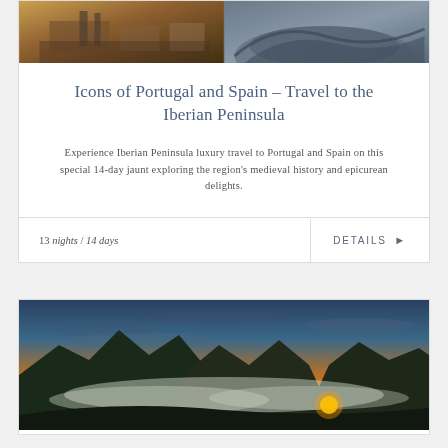[Figure (photo): Two travel photos side by side: left shows a historic plaza/courtyard scene with warm tones, right shows a curved modern architectural structure in grey tones]
Icons of Portugal and Spain – Travel to the Iberian Peninsula
Experience Iberian Peninsula luxury travel to Portugal and Spain on this special 14-day jaunt exploring the region's medieval history and epicurean delights.
13 nights / 14 days
DETAILS ▶
[Figure (photo): Dramatic landscape photo of mountainous terrain at sunset/sunrise with clouds in valleys below, warm orange and yellow sky with silhouetted mountains]